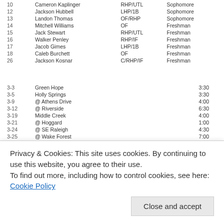| # | Name | Position | Year |
| --- | --- | --- | --- |
| 10 | Cameron Kaplinger | RHP/UTL | Sophomore |
| 12 | Jackson Hubbell | LHP/1B | Sophomore |
| 13 | Landon Thomas | OF/RHP | Sophomore |
| 14 | Mitchell Williams | OF | Freshman |
| 15 | Jack Stewart | RHP/UTL | Freshman |
| 16 | Walker Penley | RHP/IF | Freshman |
| 17 | Jacob Gimes | LHP/1B | Freshman |
| 18 | Caleb Burchett | OF | Freshman |
| 26 | Jackson Kosnar | C/RHP/IF | Freshman |
| Date | Opponent | Time |
| --- | --- | --- |
| 3-3 | Green Hope | 3:30 |
| 3-5 | Holly Springs | 3:30 |
| 3-9 | @ Athens Drive | 4:00 |
| 3-12 | @ Riverside | 6:30 |
| 3-19 | Middle Creek | 4:00 |
| 3-21 | @ Hoggard | 1:00 |
| 3-24 | @ SE Raleigh | 4:30 |
| 3-25 | @ Wake Forest | 7:00 |
| 3-27 | SE Raleigh | 4:30 |
| 3-28 | New Bern (ALS Classic @ NC State) | 1:00 |
| 3-31 | Enloe (Teacher Appreciation Day) | 4:30 |
| 4-2 | @ Enloe | 4:30 |
| 4-9 | Holly Springs (Bobby Murray @ Holly Springs) | 7:00 |
| 4-10 | Apex (Bobby Murray @ Holly Springs) | 4:00 |
| 4-11 | TBD (Bobby Murray @ Millbrook) | TBD |
| 4-15 | @ Leesville | 7:00 |
| 4-17 | Leesville | 4:30 |
| 4-18 | Blayne Browns Kids Camp |  |
Privacy & Cookies: This site uses cookies. By continuing to use this website, you agree to their use. To find out more, including how to control cookies, see here: Cookie Policy